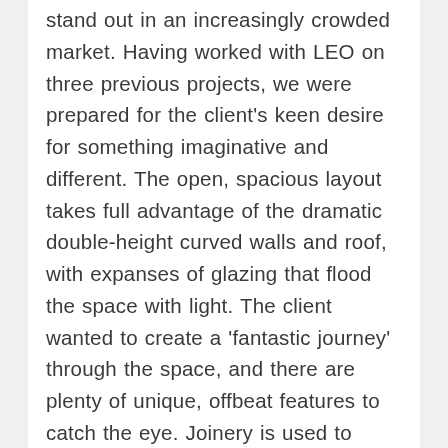stand out in an increasingly crowded market. Having worked with LEO on three previous projects, we were prepared for the client's keen desire for something imaginative and different. The open, spacious layout takes full advantage of the dramatic double-height curved walls and roof, with expanses of glazing that flood the space with light. The client wanted to create a 'fantastic journey' through the space, and there are plenty of unique, offbeat features to catch the eye. Joinery is used to great effect, notably the unusual teepees and long, arching fin wall in the lounge and the suspended ceiling